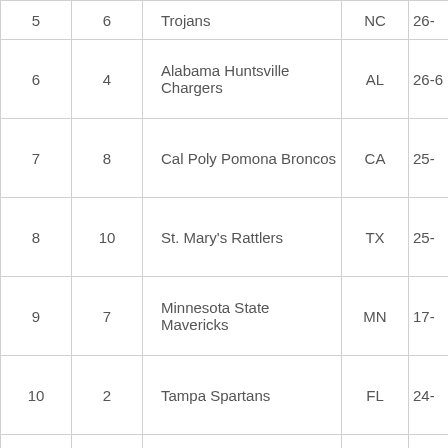| Rank | Seed | Team | State | Record |
| --- | --- | --- | --- | --- |
| 5 | 6 | Trojans | NC | 26-... |
| 6 | 4 | Alabama Huntsville Chargers | AL | 26-6... |
| 7 | 8 | Cal Poly Pomona Broncos | CA | 25-... |
| 8 | 10 | St. Mary's Rattlers | TX | 25-... |
| 9 | 7 | Minnesota State Mavericks | MN | 17-... |
| 10 | 2 | Tampa Spartans | FL | 24-... |
|  |  | St. Cloud St. |  |  |